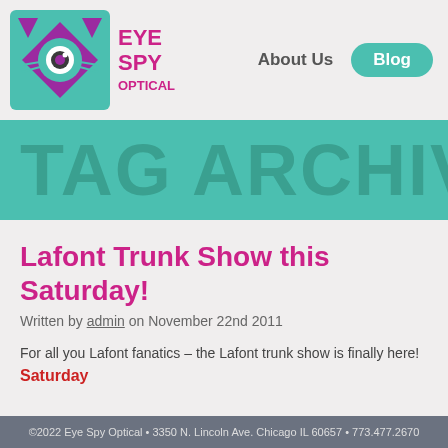[Figure (logo): Eye Spy Optical logo: teal square with cat/eye icon and purple text 'EYE SPY OPTICAL']
About Us
Blog
TAG ARCHIVES: P
Lafont Trunk Show this Saturday!
Written by admin on November 22nd 2011
For all you Lafont fanatics – the Lafont trunk show is finally here! Saturday
©2022 Eye Spy Optical • 3350 N. Lincoln Ave. Chicago IL 60657 • 773.477.2670